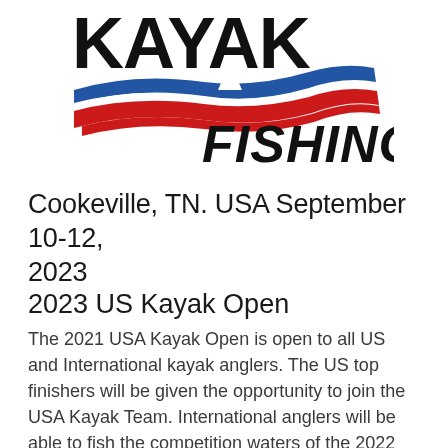[Figure (logo): Kayak Fishing logo with bold black text 'KAYAK' at top, a blue and red swoosh wave design in the middle (resembling a US flag), and bold italic black text 'FISHING' at the bottom right]
Cookeville, TN. USA September 10-12, 2023
2023 US Kayak Open
The 2021 USA Kayak Open is open to all US and International kayak anglers. The US top finishers will be given the opportunity to join the USA Kayak Team. International anglers will be able to fish the competition waters of the 2022 FIPSed Kayak World